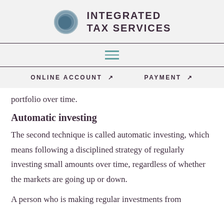[Figure (logo): Integrated Tax Services logo with circular globe icon and text]
[Figure (other): Hamburger menu icon with three horizontal teal lines]
ONLINE ACCOUNT ↗   PAYMENT ↗
portfolio over time.
Automatic investing
The second technique is called automatic investing, which means following a disciplined strategy of regularly investing small amounts over time, regardless of whether the markets are going up or down.
A person who is making regular investments from